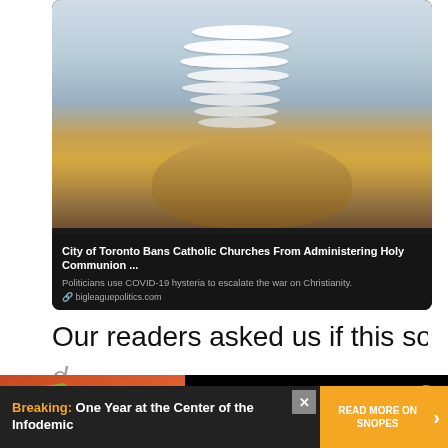[Figure (screenshot): Screenshot of a social media post with an image of communion wafers spilling from a container, with text overlay: 'City of Toronto Bans Catholic Churches From Administering Holy Communion ...' and description 'Politicians use COVID-19 hysteria to escalate the war on Christianity.' with URL bigleaguepolitics.com]
Our readers asked us if this so-called ban was
[Figure (other): Video advertisement thumbnail showing tacos with play button, titled 'Yes, McCormick Spices Is Hiring a Director of Taco Relations']
[Figure (other): Bottom banner advertisement: Breaking: One Year at the Center of the Infodemic. Read More on Snopes.]